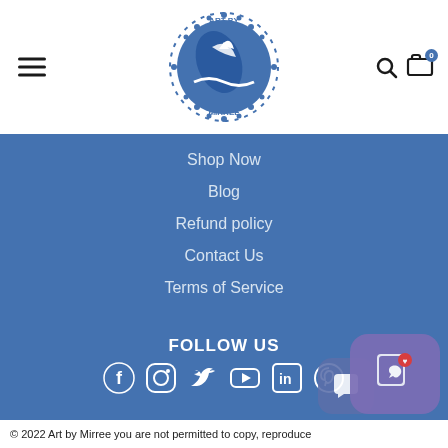[Figure (logo): Art by Mirree circular logo in blue with a bird and leaf motif, text 'ART BY MIRREE' around the circle]
Shop Now
Blog
Refund policy
Contact Us
Terms of Service
FOLLOW US
[Figure (infographic): Row of social media icons: Facebook, Instagram, Twitter, YouTube, LinkedIn, Pinterest]
© 2022 Art by Mirree you are not permitted to copy, reproduce